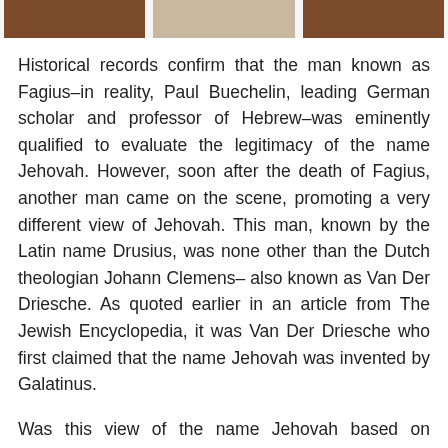[Figure (photo): Three partial images in a horizontal strip at the top of the page — left and right are brown/reddish-brown blocks, center is a lighter grayish image.]
Historical records confirm that the man known as Fagius–in reality, Paul Buechelin, leading German scholar and professor of Hebrew–was eminently qualified to evaluate the legitimacy of the name Jehovah. However, soon after the death of Fagius, another man came on the scene, promoting a very different view of Jehovah. This man, known by the Latin name Drusius, was none other than the Dutch theologian Johann Clemens– also known as Van Der Driesche. As quoted earlier in an article from The Jewish Encyclopedia, it was Van Der Driesche who first claimed that the name Jehovah was invented by Galatinus.
Was this view of the name Jehovah based on unbiased scholarship and careful consideration of the historical facts, or was it the result of outside